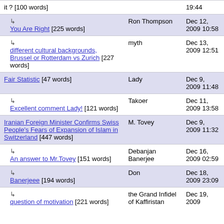| Title | Author | Date |
| --- | --- | --- |
| it ? [100 words] |  | 19:44 |
| ↳ You Are Right [225 words] | Ron Thompson | Dec 12, 2009 10:58 |
| ↳ different cultural backgrounds, Brussel or Rotterdam vs Zurich [227 words] | myth | Dec 13, 2009 12:51 |
| Fair Statistic [47 words] | Lady | Dec 9, 2009 11:48 |
| ↳ Excellent comment Lady! [121 words] | Takoer | Dec 11, 2009 13:58 |
| Iranian Foreign Minister Confirms Swiss People's Fears of Expansion of Islam in Switzerland [447 words] | M. Tovey | Dec 9, 2009 11:32 |
| ↳ An answer to Mr.Tovey [151 words] | Debanjan Banerjee | Dec 16, 2009 02:59 |
| ↳ Banerjeee [194 words] | Don | Dec 18, 2009 23:09 |
| ↳ question of motivation [221 words] | the Grand Infidel of Kaffiristan | Dec 19, 2009 |